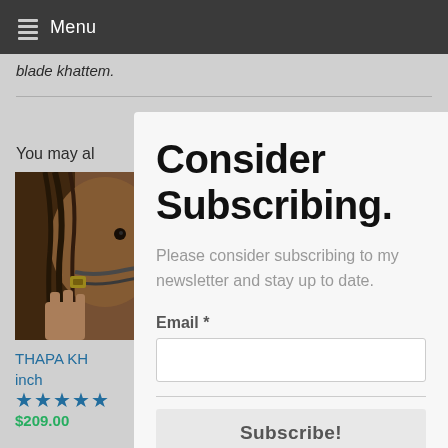Menu
blade khattem.
You may al
[Figure (photo): Close-up photo of a brown horse with a braided mane or rope bridle, with a hand visible holding something]
THAPA KH inch
★★★★★
$209.00
Consider Subscribing.
Please consider subscribing to my newsletter and stay up to date.
Email *
Subscribe!